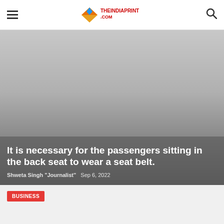THEINDIAPRINT.COM
[Figure (photo): Hero image area with gradient gray background representing an article feature image]
It is necessary for the passengers sitting in the back seat to wear a seat belt.
Shweta Singh "Journalist"  Sep 6, 2022
BUSINESS